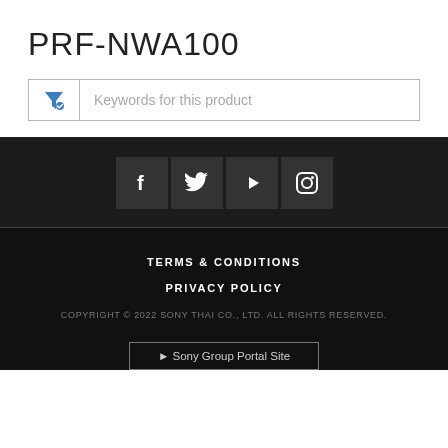PRF-NWA100
[Figure (screenshot): Search filter bar with funnel icon and placeholder text 'Keywords for this product']
[Figure (infographic): Social media icon buttons for Facebook, Twitter, YouTube, and Instagram on dark background]
TERMS & CONDITIONS
PRIVACY POLICY
COPYRIGHT © 2022 SONY THAI CO., LTD. ALL RIGHTS RESERVED.
► Sony Group Portal Site